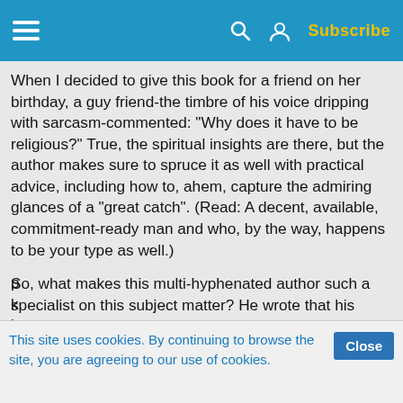Subscribe
When I decided to give this book for a friend on her birthday, a guy friend-the timbre of his voice dripping with sarcasm-commented: "Why does it have to be religious?" True, the spiritual insights are there, but the author makes sure to spruce it as well with practical advice, including how to, ahem, capture the admiring glances of a "great catch". (Read: A decent, available, commitment-ready man and who, by the way, happens to be your type as well.)
So, what makes this multi-hyphenated author such a specialist on this subject matter? He wrote that his discernment on a lifetime vocation virtually lasted for 18 years to the point that he entered an international celibate brotherhood, planned on ...
This site uses cookies. By continuing to browse the site, you are agreeing to our use of cookies.